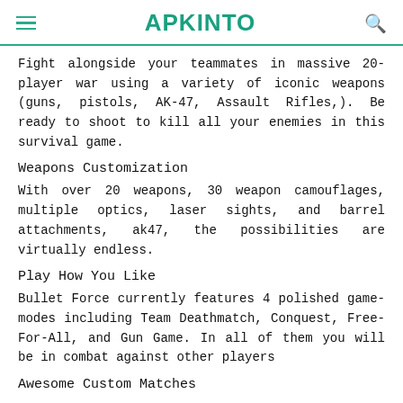APKINTO
Fight alongside your teammates in massive 20-player war using a variety of iconic weapons (guns, pistols, AK-47, Assault Rifles,). Be ready to shoot to kill all your enemies in this survival game.
Weapons Customization
With over 20 weapons, 30 weapon camouflages, multiple optics, laser sights, and barrel attachments, ak47, the possibilities are virtually endless.
Play How You Like
Bullet Force currently features 4 polished game-modes including Team Deathmatch, Conquest, Free-For-All, and Gun Game. In all of them you will be in combat against other players
Awesome Custom Matches